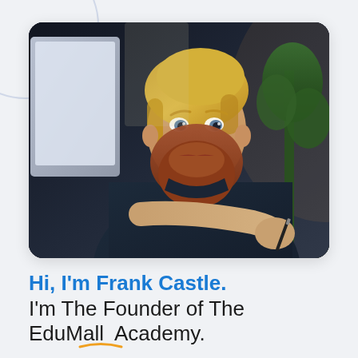[Figure (photo): A bearded young man with blonde-auburn hair sitting at a desk with a computer monitor, smiling and holding a pen. Office/studio setting with plants in background.]
Hi, I'm Frank Castle.
I'm The Founder of The EduMall Academy.